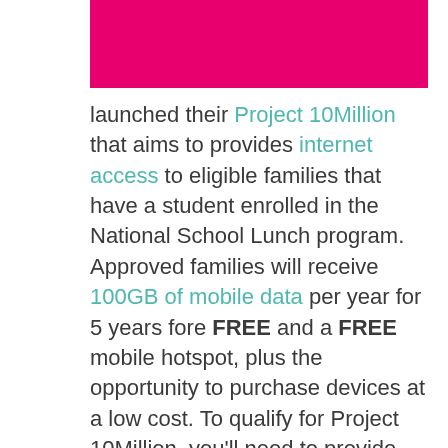[Figure (other): Hot pink/magenta rectangular banner image at top of page]
launched their Project 10Million that aims to provides internet access to eligible families that have a student enrolled in the National School Lunch program. Approved families will receive 100GB of mobile data per year for 5 years fore FREE and a FREE mobile hotspot, plus the opportunity to purchase devices at a low cost. To qualify for Project 10Million, you'll need to provide your proof of enrollment in the National School Lunch Program dated within the last 12 months, your student's school district and ID number, and basic contact information (name, address, etc.). New and existing T-Mobile (including Metro by T-Mobile and Sprint) as well as Non-T-Mobile customers are eligible to apply. Available to residents of the United States, and